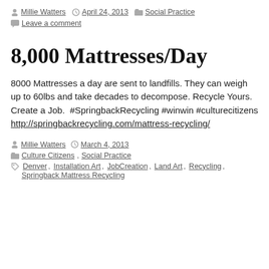by Millie Watters  April 24, 2013  Social Practice  Leave a comment
8,000 Mattresses/Day
8000 Mattresses a day are sent to landfills. They can weigh up to 60lbs and take decades to decompose. Recycle Yours. Create a Job.  #SpringbackRecycling #winwin #culturecitizens http://springbackrecycling.com/mattress-recycling/
by Millie Watters  March 4, 2013  Culture Citizens, Social Practice  Denver, Installation Art, JobCreation, Land Art, Recycling, Springback Mattress Recycling